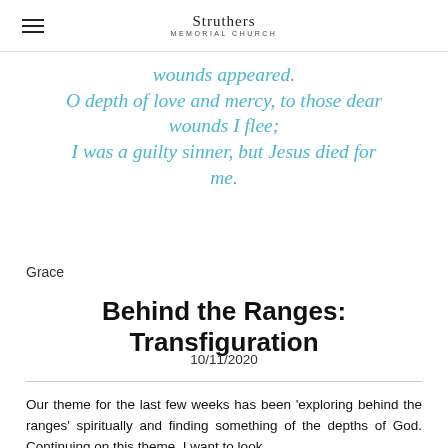Struthers Memorial Church
wounds appeared.
O depth of love and mercy, to those dear wounds I flee;
I was a guilty sinner, but Jesus died for me.
Grace
Behind the Ranges: Transfiguration
10/11/2020
Our theme for the last few weeks has been 'exploring behind the ranges' spiritually and finding something of the depths of God. Continuing on this theme, I want to look